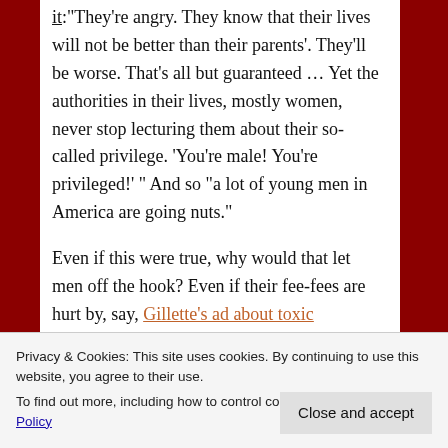it:“They’re angry. They know that their lives will not be better than their parents’. They’ll be worse. That’s all but guaranteed … Yet the authorities in their lives, mostly women, never stop lecturing them about their so-called privilege. ‘You’re male! You’re privileged!’ ” And so “a lot of young men in America are going nuts.”

Even if this were true, why would that let men off the hook? Even if their fee-fees are hurt by, say, Gillette’s ad about toxic masculinity, that doesn’t excuse them channeling their anger into killing sprees.
Privacy & Cookies: This site uses cookies. By continuing to use this website, you agree to their use.
To find out more, including how to control cookies, see here: Cookie Policy